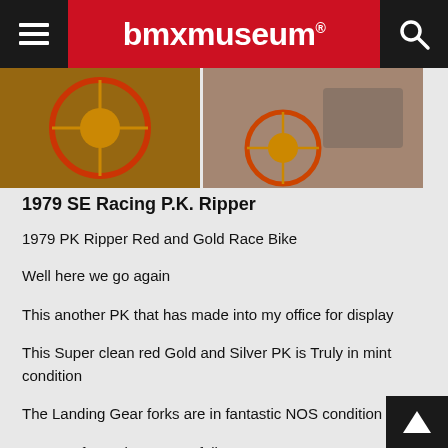bmxmuseum
[Figure (photo): Two photos of a 1979 SE Racing PK Ripper bicycle, showing red and gold bike parts]
1979 SE Racing P.K. Ripper
1979 PK Ripper Red and Gold Race Bike
Well here we go again
This another PK that has made into my office for display
This Super clean red Gold and Silver PK is Truly in mint condition
The Landing Gear forks are in fantastic NOS condition
Parts so far to date are as follows
Race inc Handlebars
Takagi Cranks
Shimano Dx pedals
Suntour clamp
SR Stem ( i cant remember the brand)
Shimano DX lever
I have some parts that are ready to go on
Shimano Brake caliper